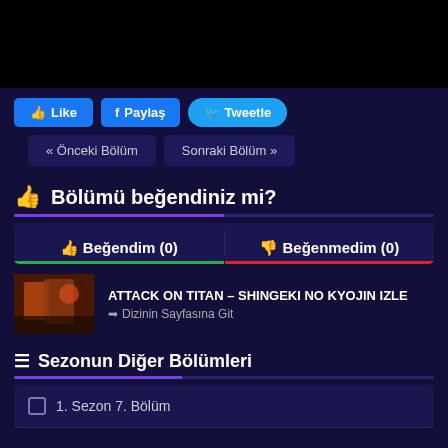[Figure (screenshot): Black video player area]
👍 Like  f Paylaş  🐦 Tweetle
« Önceki Bölüm  Sonraki Bölüm »
👍 Bölümü beğendiniz mi?
👍 Beğendim (0)    👎 Beğenmedim (0)
ATTACK ON TITAN – SHINGEKI NO KYOJIN IZLE
➡ Dizinin Sayfasına Git
≡ Sezonun Diğer Bölümleri
1. Sezon 7. Bölüm